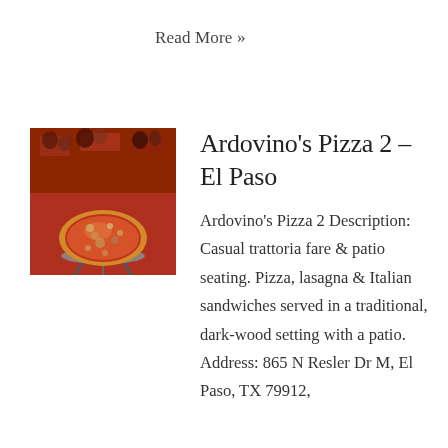Read More »
Ardovino's Pizza 2 – El Paso
[Figure (photo): Photo of a pizza on a metal stand inside a restaurant with people and red decor in the background]
Ardovino's Pizza 2 Description: Casual trattoria fare & patio seating. Pizza, lasagna & Italian sandwiches served in a traditional, dark-wood setting with a patio. Address: 865 N Resler Dr M, El Paso, TX 79912,